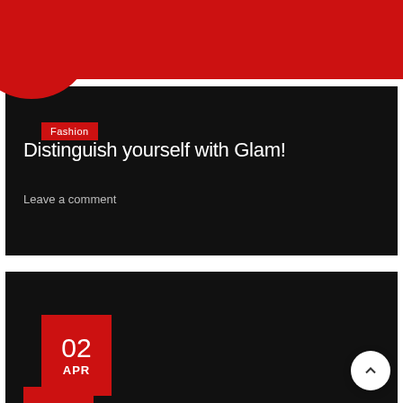Fashion blog header with navigation icons (search, wishlist, cart, menu)
Distinguish yourself with Glam!
Leave a comment
Fashion
02 APR